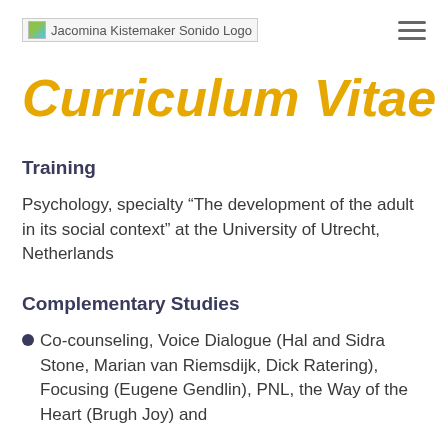Jacomina Kistemaker Sonido Logo
Curriculum Vitae
Training
Psychology, specialty “The development of the adult in its social context” at the University of Utrecht, Netherlands
Complementary Studies
Co-counseling, Voice Dialogue (Hal and Sidra Stone, Marian van Riemsdijk, Dick Ratering), Focusing (Eugene Gendlin), PNL, the Way of the Heart (Brugh Joy) and